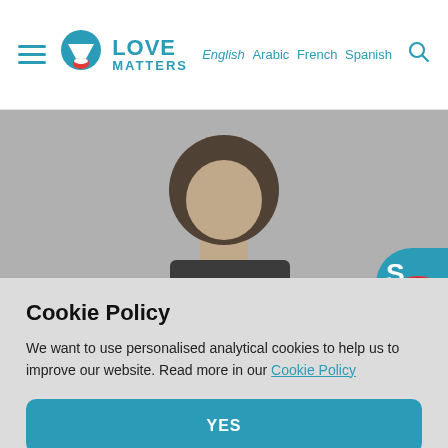English Arabic French Spanish [hamburger menu] [Love Matters logo] [search icon]
[Figure (photo): Woman with curly hair holding a tablet, shown from shoulders down, grayscale/muted tones. Corner badge showing a teal circle with red lip/kiss icon partially visible.]
Cookie Policy
We want to use personalised analytical cookies to help us to improve our website. Read more in our Cookie Policy
YES